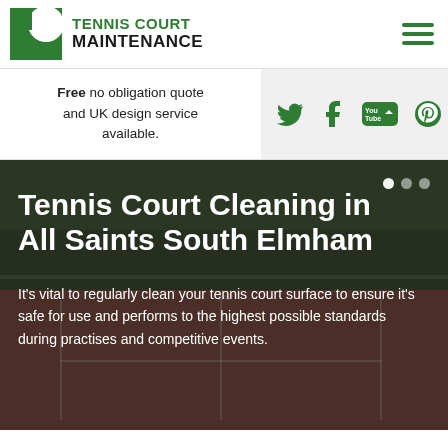[Figure (logo): Tennis Court Maintenance logo with green square icon and text]
Free no obligation quote and UK design service available.
[Figure (infographic): Social media icons: Twitter, Tumblr, YouTube, Pinterest in green]
[Figure (photo): Background photo of a tennis court with trees]
Tennis Court Cleaning in All Saints South Elmham
It's vital to regularly clean your tennis court surface to ensure it's safe for use and performs to the highest possible standards during practises and competitive events.